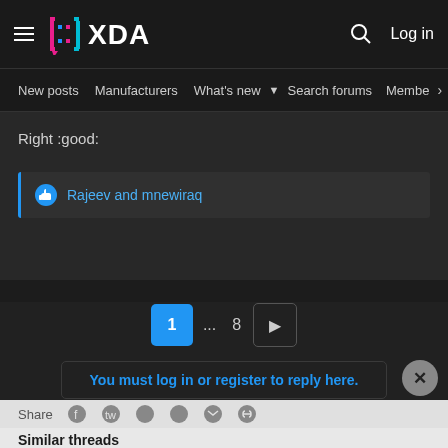[Figure (logo): XDA Developers logo with pink/cyan bracket icon and white XDA text on dark background]
New posts  Manufacturers  What's new  Search forums  Membe  >
Right :good:
Rajeev and mnewiraq
1  ...  8  ▶
You must log in or register to reply here.
Share
Similar threads